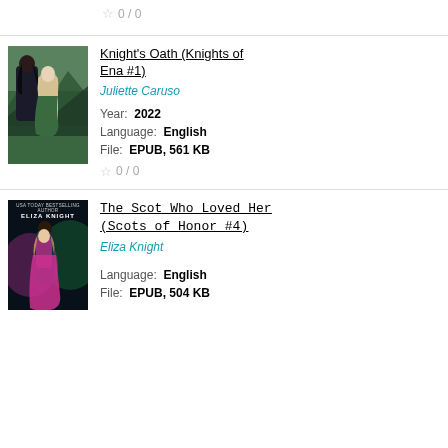0 / 0
[Figure (illustration): Book cover for Knight's Oath (Knights of Ena #1) showing two fantasy women characters, one with dark hair and one with light hair, in front of a green mountainous landscape. Text on cover reads JULIETTE CARUSO at top and KNIGHT'S OATH at bottom.]
Knight's Oath (Knights of Ena #1)
Juliette Caruso
Year: 2022
Language: English
File: EPUB, 561 KB
0 / 0
[Figure (illustration): Book cover for The Scot Who Loved Her (Scots of Honor #4) by Eliza Knight, showing two figures embracing with pink and green magical glowing effects. Dark background. Text at top reads USA TODAY BESTSELLING AUTHOR ELIZA KNIGHT. Bottom text reads THE SCOT WHO LOVED HER.]
The Scot Who Loved Her (Scots of Honor #4)
Eliza Knight
Language: English
File: EPUB, 504 KB